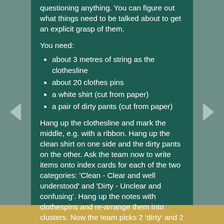questioning anything. You can figure out what things need to be talked about to get an explicit grasp of them.
You need:
about 3 metres of string as the clothesline
about 20 clothes pins
a white shirt (cut from paper)
a pair of dirty pants (cut from paper)
Hang up the clothesline and mark the middle, e.g. with a ribbon. Hang up the clean shirt on one side and the dirty pants on the other. Ask the team now to write items onto index cards for each of the two categories: 'Clean - Clear and well understood' and 'Dirty - Unclear and confusing'. Hang up the notes with clothespins and re-arrange them into clusters. Now the team picks 2 'dirty' and 2 'clean' topics they want to talk about, e.g. by dot voting.